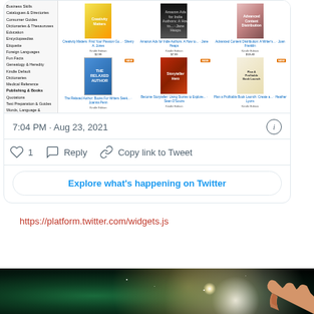[Figure (screenshot): Twitter embedded card showing Amazon book listings screenshot with categories sidebar and book grid, followed by timestamp '7:04 PM · Aug 23, 2021', action buttons (like=1, Reply, Copy link to Tweet), and 'Explore what's happening on Twitter' button]
https://platform.twitter.com/widgets.js
[Figure (photo): Space/galaxy image with green nebula on left and a hand pointing from the right toward a bright light source]